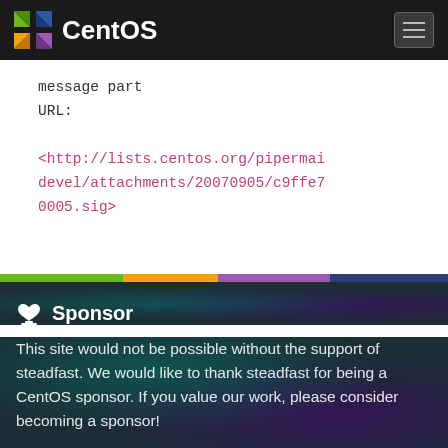CentOS
message part
URL:
<http://lists.centos.org/pipermail/devel/attachments/20070905/c9ffe70005.sig>
🤲 Sponsor
This site would not be possible without the support of steadfast. We would like to thank steadfast for being a CentOS sponsor. If you value our work, please consider becoming a sponsor!